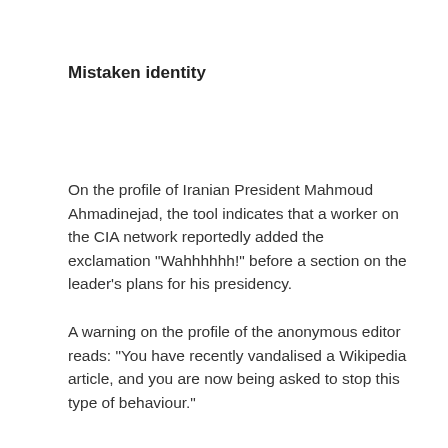Mistaken identity
On the profile of Iranian President Mahmoud Ahmadinejad, the tool indicates that a worker on the CIA network reportedly added the exclamation "Wahhhhhh!" before a section on the leader's plans for his presidency.
A warning on the profile of the anonymous editor reads: "You have recently vandalised a Wikipedia article, and you are now being asked to stop this type of behaviour."